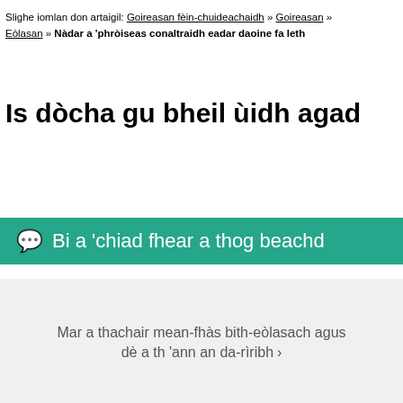Slighe iomlan don artaigil: Goireasan fèin-chuideachaidh » Goireasan » Eòlasan » Nàdar a 'phròiseas conaltraidh eadar daoine fa leth
Is dòcha gu bheil ùidh agad
Bi a 'chiad fhear a thog beachd
Mar a thachair mean-fhàs bith-eòlasach agus dè a th 'ann an da-rìribh ›